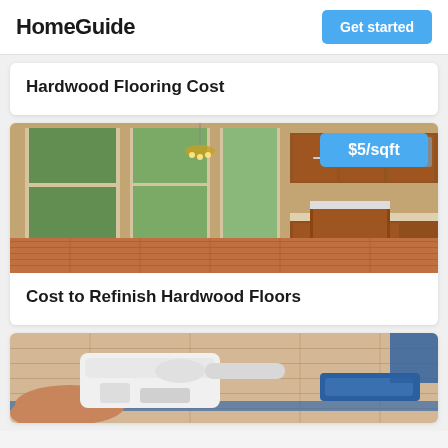HomeGuide  Get started
Hardwood Flooring Cost
[Figure (photo): Interior photo of a home with large windows showing a green backyard, hardwood floors, and a kitchen with cherry wood cabinets and an island. Price badge showing $5/sqft in top right corner.]
Cost to Refinish Hardwood Floors
[Figure (photo): Close-up photo of hands installing light hardwood flooring planks with a blue underlay, using a white flooring installation tool.]